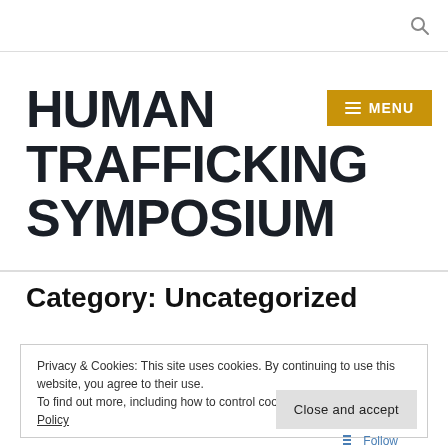HUMAN TRAFFICKING SYMPOSIUM
Category: Uncategorized
Privacy & Cookies: This site uses cookies. By continuing to use this website, you agree to their use.
To find out more, including how to control cookies, see here: Cookie Policy
Close and accept